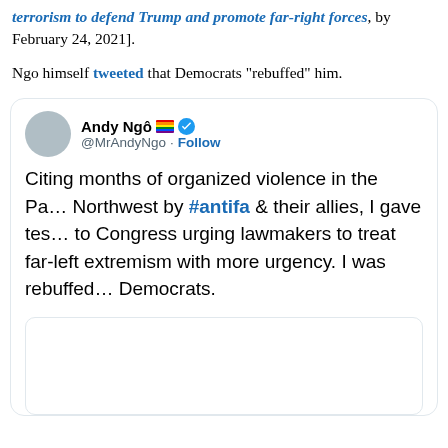terrorism to defend Trump and promote far-right forces, by February 24, 2021].
Ngo himself tweeted that Democrats “rebuffed” him.
[Figure (screenshot): Tweet by Andy Ngô (@MrAndyNgo) with pride flag emoji and verified badge, followed by Follow link. Tweet text: Citing months of organized violence in the Pacific Northwest by #antifa & their allies, I gave testimony to Congress urging lawmakers to treat far-left extremism with more urgency. I was rebuffed by Democrats. Contains an inner embedded card/image.]